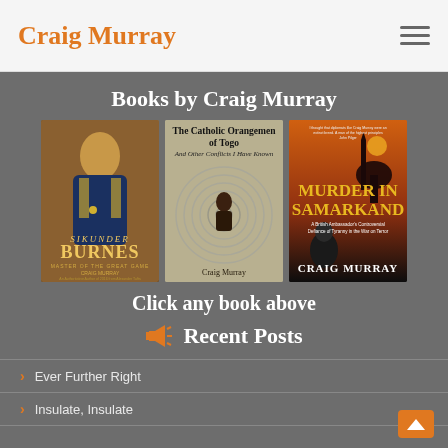Craig Murray
Books by Craig Murray
[Figure (photo): Three book covers side by side: 'Sikunder Burnes: Master of the Great Game' by Craig Murray, 'The Catholic Orangemen of Togo And Other Conflicts I Have Known' by Craig Murray, and 'Murder in Samarkand: A British Ambassador's Controversial Defiance of Tyranny in the War on Terror' by Craig Murray]
Click any book above
Recent Posts
Ever Further Right
Insulate, Insulate